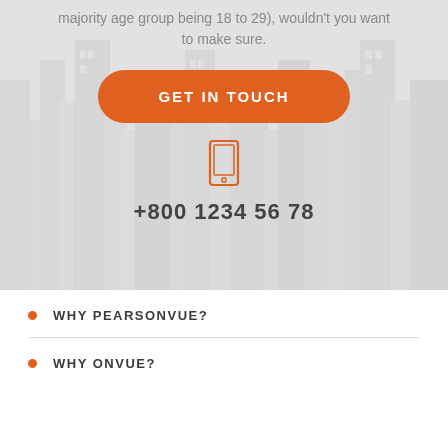majority age group being 18 to 29), wouldn't you want to make sure.
[Figure (other): Orange rounded rectangle button with white uppercase text 'GET IN TOUCH']
[Figure (other): Orange outline icon of a mobile phone/tablet device]
+800 1234 56 78
WHY PEARSONVUE?
WHY ONVUE?